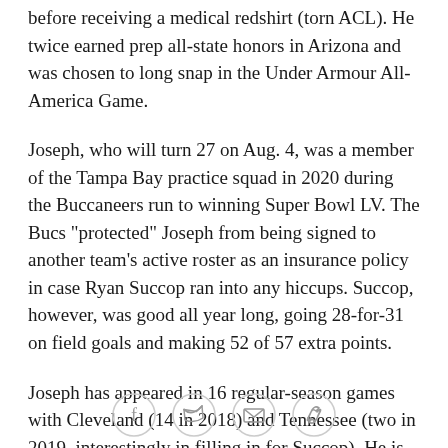before receiving a medical redshirt (torn ACL). He twice earned prep all-state honors in Arizona and was chosen to long snap in the Under Armour All-America Game.
Joseph, who will turn 27 on Aug. 4, was a member of the Tampa Bay practice squad in 2020 during the Buccaneers run to winning Super Bowl LV. The Bucs "protected" Joseph from being signed to another team's active roster as an insurance policy in case Ryan Succop ran into any hiccups. Succop, however, was good all year long, going 28-for-31 on field goals and making 52 of 57 extra points.
Joseph has appeared in 16 regular-season games with Cleveland (14 in 2018) and Tennessee (two in 2019, interestingly in filling in for Succop). He is 17-for-20 on field goals and has made 34 of 38 extra points. Born in
[Figure (infographic): Social sharing icons row: Facebook, Twitter, Email, Link/copy icons in circle outlines]